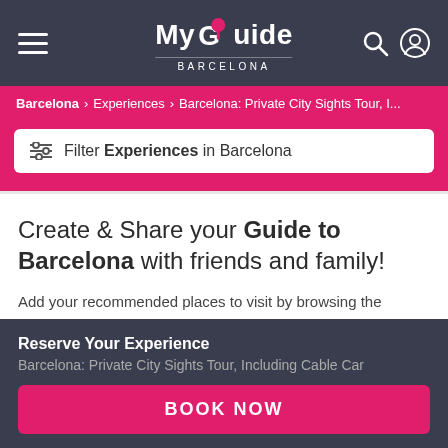My Guide Barcelona
Barcelona > Experiences > Barcelona: Private City Sights Tour, I...
Filter Experiences in Barcelona
Create & Share your Guide to Barcelona with friends and family!
Add your recommended places to visit by browsing the website and pressing the + icon.
Create your own guide of favourite 'must see' places
Reserve Your Experience
Barcelona: Private City Sights Tour, Including Cable Car
BOOK NOW